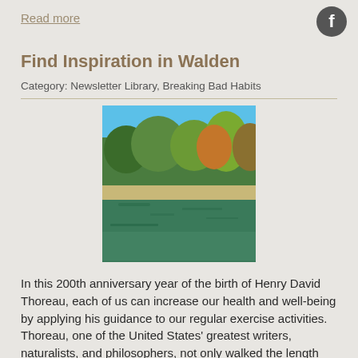Read more
[Figure (logo): Facebook logo icon, dark gray circle with white 'f']
Find Inspiration in Walden
Category: Newsletter Library, Breaking Bad Habits
[Figure (photo): Photo of a lake with green trees and blue sky reflecting in calm water]
In this 200th anniversary year of the birth of Henry David Thoreau, each of us can increase our health and well-being by applying his guidance to our regular exercise activities. Thoreau, one of the United States' greatest writers, naturalists, and philosophers, not only walked the length and breadth
Read more
Making the Grade
Category: Newsletter Library, Br